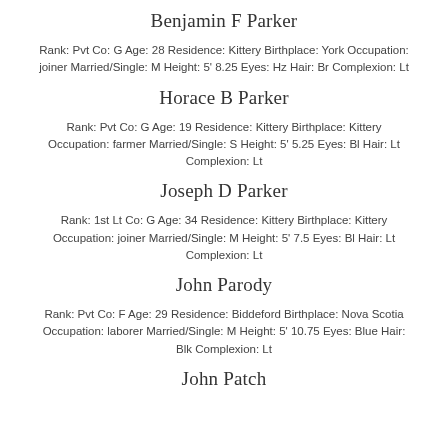Benjamin F Parker
Rank: Pvt Co: G Age: 28 Residence: Kittery Birthplace: York Occupation: joiner Married/Single: M Height: 5' 8.25 Eyes: Hz Hair: Br Complexion: Lt
Horace B Parker
Rank: Pvt Co: G Age: 19 Residence: Kittery Birthplace: Kittery Occupation: farmer Married/Single: S Height: 5' 5.25 Eyes: Bl Hair: Lt Complexion: Lt
Joseph D Parker
Rank: 1st Lt Co: G Age: 34 Residence: Kittery Birthplace: Kittery Occupation: joiner Married/Single: M Height: 5' 7.5 Eyes: Bl Hair: Lt Complexion: Lt
John Parody
Rank: Pvt Co: F Age: 29 Residence: Biddeford Birthplace: Nova Scotia Occupation: laborer Married/Single: M Height: 5' 10.75 Eyes: Blue Hair: Blk Complexion: Lt
John Patch